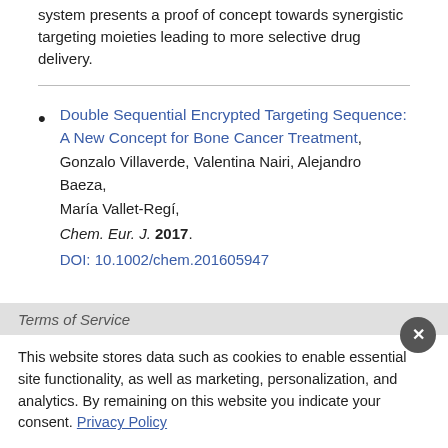system presents a proof of concept towards synergistic targeting moieties leading to more selective drug delivery.
Double Sequential Encrypted Targeting Sequence: A New Concept for Bone Cancer Treatment, Gonzalo Villaverde, Valentina Nairi, Alejandro Baeza, María Vallet-Regí, Chem. Eur. J. 2017. DOI: 10.1002/chem.201605947
Terms of Service
This website stores data such as cookies to enable essential site functionality, as well as marketing, personalization, and analytics. By remaining on this website you indicate your consent. Privacy Policy